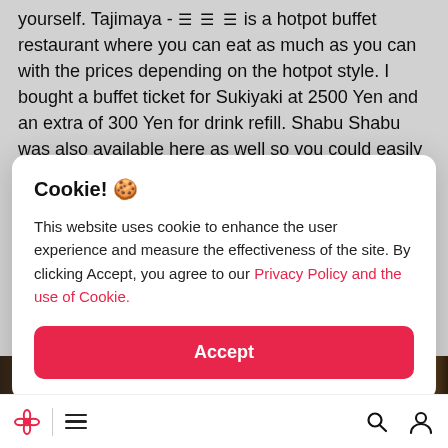yourself. Tajimaya - ≡ ≡ ≡ is a hotpot buffet restaurant where you can eat as much as you can with the prices depending on the hotpot style. I bought a buffet ticket for Sukiyaki at 2500 Yen and an extra of 300 Yen for drink refill. Shabu Shabu was also available here as well so you could easily choose different types of hotpot in this restaurant
Cookie! 🍪
This website uses cookie to enhance the user experience and measure the effectiveness of the site. By clicking Accept, you agree to our Privacy Policy and the use of Cookie.
Accept
[Figure (photo): Partial view of a food-related image strip at the bottom of the page, showing what appears to be restaurant food items in warm brown tones.]
Navigation bar with flower logo, hamburger menu, search icon, and user/account icon